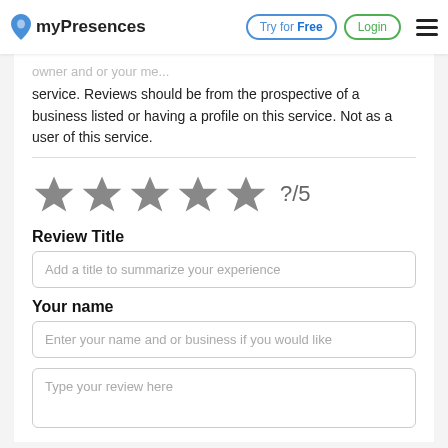myPresences — Try for Free | Login
service. Reviews should be from the prospective of a business listed or having a profile on this service. Not as a user of this service.
[Figure (other): Five grey star rating icons with '?/5' label, representing an unrated 5-star rating widget]
Review Title
Add a title to summarize your experience
Your name
Enter your name and or business if you would like
Type your review here